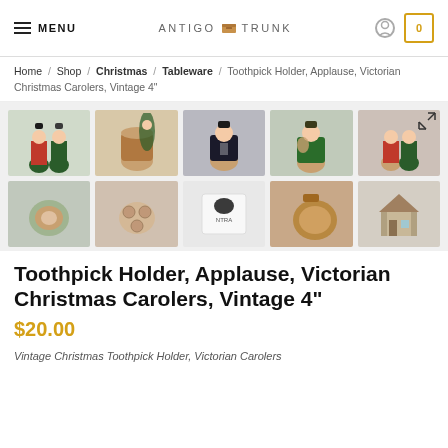MENU | ANTIGO TRUNK | [user icon] [cart: 0]
Home / Shop / Christmas / Tableware / Toothpick Holder, Applause, Victorian Christmas Carolers, Vintage 4"
[Figure (photo): Gallery of 10 product thumbnails showing Victorian Christmas Carolers Toothpick Holder from various angles: carolers figurines, barrel/holder, bottom marks, copper details, and a house figurine.]
Toothpick Holder, Applause, Victorian Christmas Carolers, Vintage 4"
$20.00
Vintage Christmas Toothpick Holder, Victorian Carolers